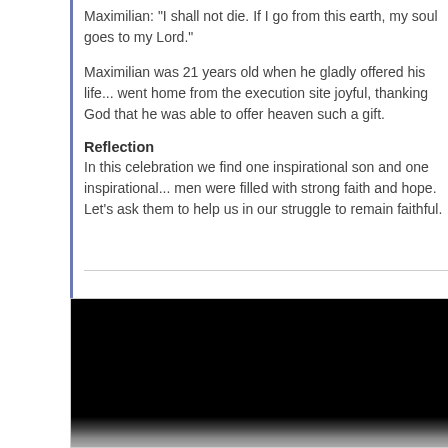Maximilian: "I shall not die. If I go from this earth, my soul goes to my Lord."
Maximilian was 21 years old when he gladly offered his life... went home from the execution site joyful, thanking God that he was able to offer heaven such a gift.
Reflection
In this celebration we find one inspirational son and one inspirational... men were filled with strong faith and hope. Let's ask them to help us in our struggle to remain faithful.
[Figure (photo): Black and white photograph, mostly dark/black background with a light rocky or textured surface visible at the bottom.]